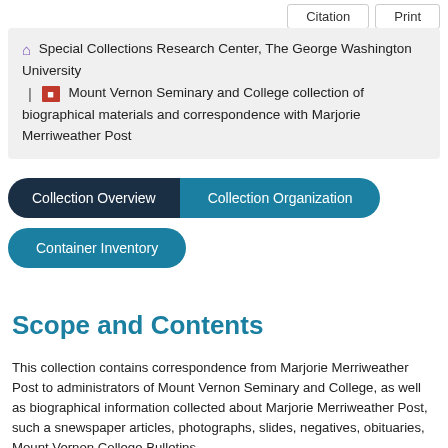Citation   Print
🏠 Special Collections Research Center, The George Washington University | 📕 Mount Vernon Seminary and College collection of biographical materials and correspondence with Marjorie Merriweather Post
[Figure (other): Navigation tabs: Collection Overview (dark navy, active), Collection Organization (teal), Container Inventory (teal)]
Scope and Contents
This collection contains correspondence from Marjorie Merriweather Post to administrators of Mount Vernon Seminary and College, as well as biographical information collected about Marjorie Merriweather Post, such a snewspaper articles, photographs, slides, negatives, obituaries, Mount Vernon College Bulletins, and bills, reports, invoices, booklets, and books that